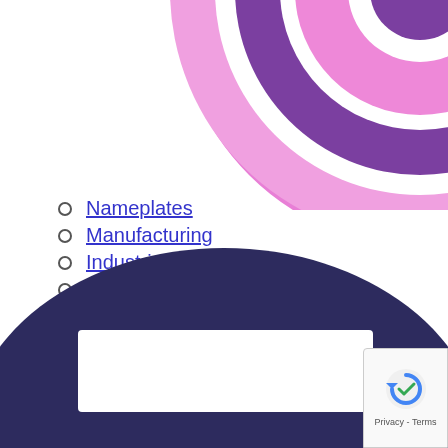[Figure (illustration): Partial circular rings in pink and purple colors, cropped at top of page, decorative graphic element]
Nameplates
Manufacturing
Industries
Membrane Switches
About Us
Contact Us
Blog
Request Quote
[Figure (illustration): Dark navy blue semicircle/arch shape with a white rectangular cutout, decorative graphic, cropped at bottom of page. reCAPTCHA badge overlay in bottom right corner.]